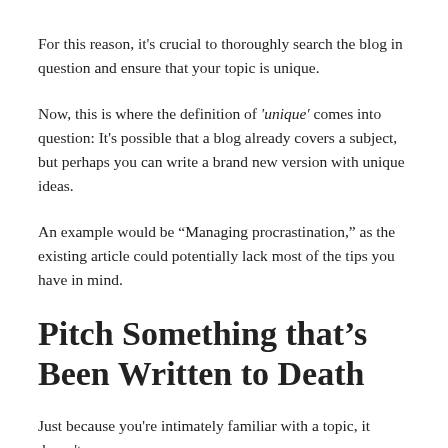For this reason, it's crucial to thoroughly search the blog in question and ensure that your topic is unique.
Now, this is where the definition of 'unique' comes into question: It's possible that a blog already covers a subject, but perhaps you can write a brand new version with unique ideas.
An example would be “Managing procrastination,” as the existing article could potentially lack most of the tips you have in mind.
Pitch Something that’s Been Written to Death
Just because you're intimately familiar with a topic, it doesn't